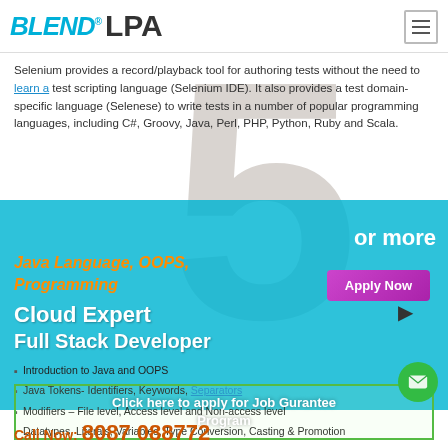BLEND® LPA
Selenium provides a record/playback tool for authoring tests without the need to learn a test scripting language (Selenium IDE). It also provides a test domain-specific language (Selenese) to write tests in a number of popular programming languages, including C#, Groovy, Java, Perl, PHP, Python, Ruby and Scala.
5 or more
Java Language, OOPS, Programming
Apply Now
Cloud Expert
Full Stack Developer
Introduction to Java and OOPS
Java Tokens- Identifiers, Keywords, Separators
Modifiers – File level, Access level and Non-access level
Datatypes, Literals, Variables, Type Conversion, Casting & Promotion
Reading runtime values from Keyboard and Properties File
Operators and Control Statements
Method and Types of methods
Click here to apply for Job Gurantee Program
Call Now: 8087 088772